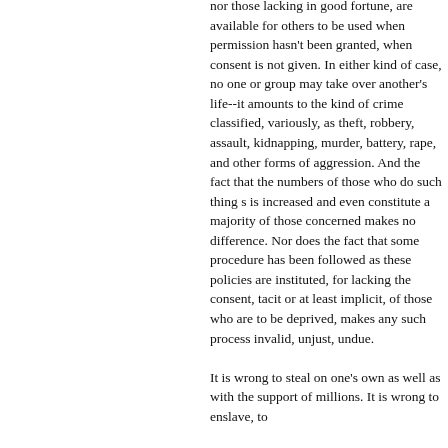nor those lacking in good fortune, are available for others to be used when permission hasn't been granted, when consent is not given. In either kind of case, no one or group may take over another's life--it amounts to the kind of crime classified, variously, as theft, robbery, assault, kidnapping, murder, battery, rape, and other forms of aggression. And the fact that the numbers of those who do such thing s is increased and even constitute a majority of those concerned makes no difference. Nor does the fact that some procedure has been followed as these policies are instituted, for lacking the consent, tacit or at least implicit, of those who are to be deprived, makes any such process invalid, unjust, undue.

It is wrong to steal on one's own as well as with the support of millions. It is wrong to enslave, to